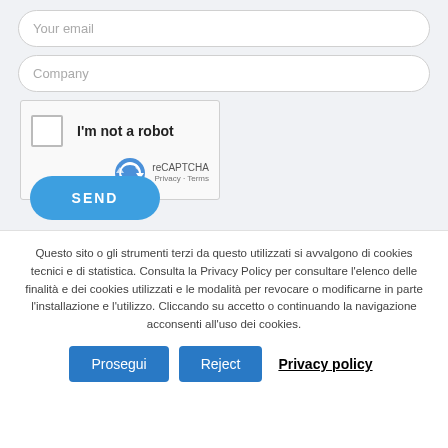[Figure (screenshot): Web form with email and company input fields, reCAPTCHA widget, and SEND button on a light gray background]
Questo sito o gli strumenti terzi da questo utilizzati si avvalgono di cookies tecnici e di statistica. Consulta la Privacy Policy per consultare l’elenco delle finalità e dei cookies utilizzati e le modalità per revocare o modificarne in parte l’installazione e l’utilizzo. Cliccando su accetto o continuando la navigazione acconsenti all’uso dei cookies.
Prosegui
Reject
Privacy policy